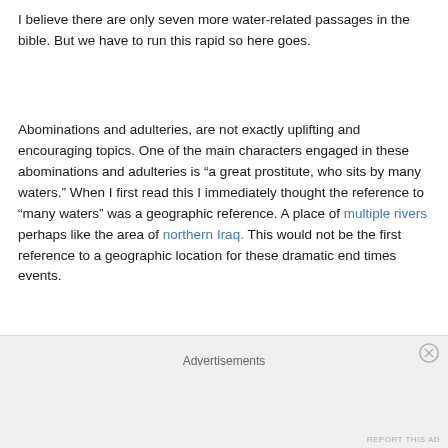I believe there are only seven more water-related passages in the bible. But we have to run this rapid so here goes.
Abominations and adulteries, are not exactly uplifting and encouraging topics. One of the main characters engaged in these abominations and adulteries is “a great prostitute, who sits by many waters.” When I first read this I immediately thought the reference to “many waters” was a geographic reference. A place of multiple rivers perhaps like the area of northern Iraq. This would not be the first reference to a geographic location for these dramatic end times events.
Advertisements